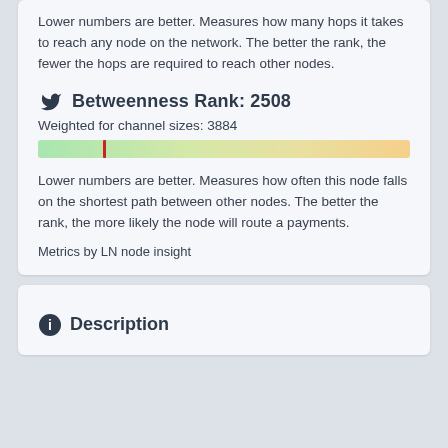Lower numbers are better. Measures how many hops it takes to reach any node on the network. The better the rank, the fewer the hops are required to reach other nodes.
Betweenness Rank: 2508
Weighted for channel sizes: 3884
[Figure (other): Horizontal gradient bar from green to orange with a red marker line at approximately 17.5% from the left, indicating rank position.]
Lower numbers are better. Measures how often this node falls on the shortest path between other nodes. The better the rank, the more likely the node will route a payments.
Metrics by LN node insight
Description